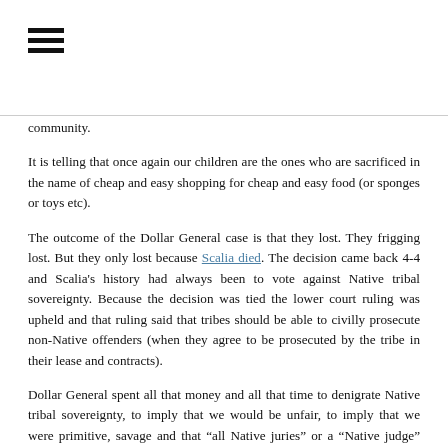[Figure (other): Hamburger menu icon (three horizontal bars)]
community.
It is telling that once again our children are the ones who are sacrificed in the name of cheap and easy shopping for cheap and easy food (or sponges or toys etc).
The outcome of the Dollar General case is that they lost. They frigging lost. But they only lost because Scalia died. The decision came back 4-4 and Scalia's history had always been to vote against Native tribal sovereignty. Because the decision was tied the lower court ruling was upheld and that ruling said that tribes should be able to civilly prosecute non-Native offenders (when they agree to be prosecuted by the tribe in their lease and contracts).
Dollar General spent all that money and all that time to denigrate Native tribal sovereignty, to imply that we would be unfair, to imply that we were primitive, savage and that “all Native juries” or a “Native judge” would somehow be unable to serve. Yet, as pointed out by Justice Sotamayor, they